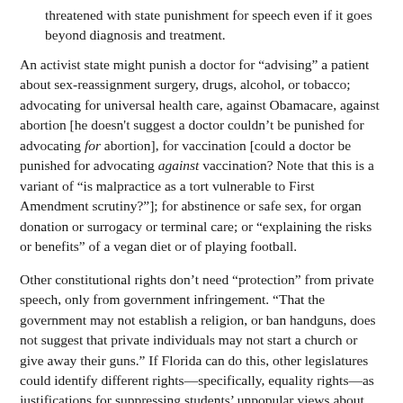threatened with state punishment for speech even if it goes beyond diagnosis and treatment.
An activist state might punish a doctor for “advising” a patient about sex-reassignment surgery, drugs, alcohol, or tobacco; advocating for universal health care, against Obamacare, against abortion [he doesn't suggest a doctor couldn’t be punished for advocating for abortion], for vaccination [could a doctor be punished for advocating against vaccination? Note that this is a variant of “is malpractice as a tort vulnerable to First Amendment scrutiny?”]; for abstinence or safe sex, for organ donation or surrogacy or terminal care; or “explaining the risks or benefits” of a vegan diet or of playing football.
Other constitutional rights don’t need “protection” from private speech, only from government infringement. “That the government may not establish a religion, or ban handguns, does not suggest that private individuals may not start a church or give away their guns.” If Florida can do this, other legislatures could identify different rights—specifically, equality rights—as justifications for suppressing students’ unpopular views about race, religion, or sex.